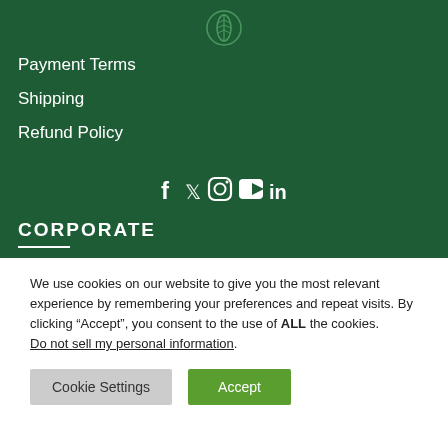[Figure (logo): Green leaf/grain circular logo icon centered at top of dark green header]
Payment Terms
Shipping
Refund Policy
[Figure (infographic): Social media icons: Facebook, Twitter, Instagram, YouTube, LinkedIn displayed in white on green background]
CORPORATE
We use cookies on our website to give you the most relevant experience by remembering your preferences and repeat visits. By clicking “Accept”, you consent to the use of ALL the cookies.
Do not sell my personal information.